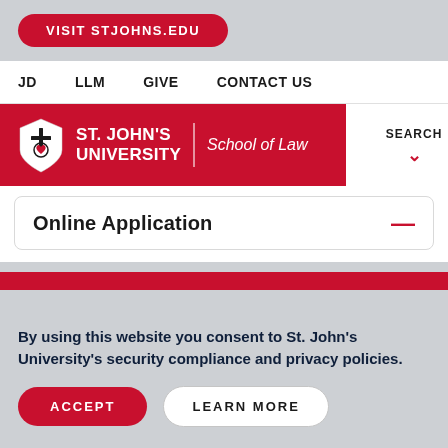VISIT STJOHNS.EDU
JD   LLM   GIVE   CONTACT US
[Figure (logo): St. John's University School of Law logo with shield, name, and School of Law text in white on red background, with SEARCH and MENU controls]
Online Application
By using this website you consent to St. John's University's security compliance and privacy policies.
ACCEPT
LEARN MORE